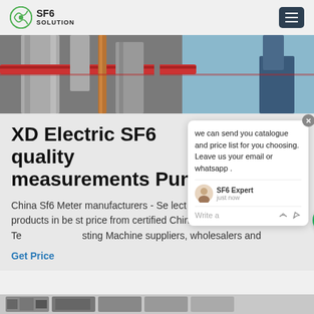SF6 SOLUTION
[Figure (photo): Industrial pipes and equipment photo - SF6 related infrastructure with red and copper colored pipes against grey industrial background]
XD Electric SF6 quality measurements Pune
China Sf6 Meter manufacturers - Select high quality Sf6 Meter products in best price from certified Chinese Test Equipment, Testing Machine suppliers, wholesalers and
Get Price
[Figure (screenshot): Chat popup overlay showing: 'we can send you catalogue and price list for you choosing. Leave us your email or whatsapp.' with SF6 Expert avatar and just now timestamp, write a message input with thumbs up and attachment icons. Green chat bubble button with red badge showing 1.]